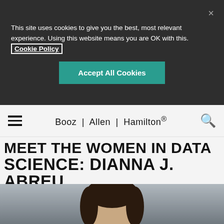This site uses cookies to give you the best, most relevant experience. Using this website means you are OK with this. Cookie Policy
Accept All Cookies
Booz | Allen | Hamilton®
MEET THE WOMEN IN DATA SCIENCE: DIANNA J. ABREU
[Figure (photo): Portrait photo of Dianna J. Abreu, a woman with dark hair, shown from shoulders up against a gray gradient background]